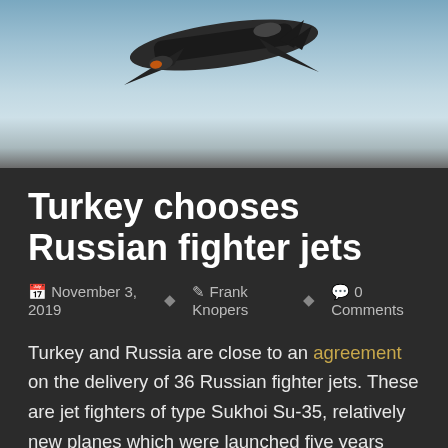[Figure (photo): Military jet fighter aircraft (Sukhoi Su-35) photographed from below against a light blue sky background]
Turkey chooses Russian fighter jets
November 3, 2019   Frank Knopers   0 Comments
Turkey and Russia are close to an agreement on the delivery of 36 Russian fighter jets. These are jet fighters of type Sukhoi Su-35, relatively new planes which were launched five years ago. This deal is remarkable, because not so long ago Turkey still had American jets on its wish list.
Turkey was planning to buy the F-35 'Joint Strike Fighter' from the American aircraft manufacturer